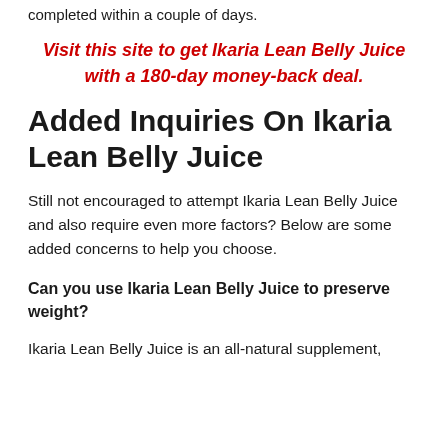completed within a couple of days.
Visit this site to get Ikaria Lean Belly Juice with a 180-day money-back deal.
Added Inquiries On Ikaria Lean Belly Juice
Still not encouraged to attempt Ikaria Lean Belly Juice and also require even more factors? Below are some added concerns to help you choose.
Can you use Ikaria Lean Belly Juice to preserve weight?
Ikaria Lean Belly Juice is an all-natural supplement,